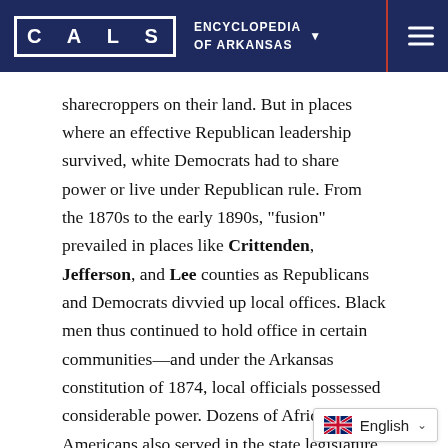CALS ENCYCLOPEDIA OF ARKANSAS
sharecroppers on their land. But in places where an effective Republican leadership survived, white Democrats had to share power or live under Republican rule. From the 1870s to the early 1890s, "fusion" prevailed in places like Crittenden, Jefferson, and Lee counties as Republicans and Democrats divvied up local offices. Black men thus continued to hold office in certain communities—and under the Arkansas constitution of 1874, local officials possessed considerable power. Dozens of African Americans also served in the state legislature in the twenty years after Reconstruction.
Other things created trouble for the Democrats by the 1880s. Many white farmers of modest circumstance, long a key element of the party's constituency, were shifting their posture toward government as falling cotton prices mired them in debt or even forc…